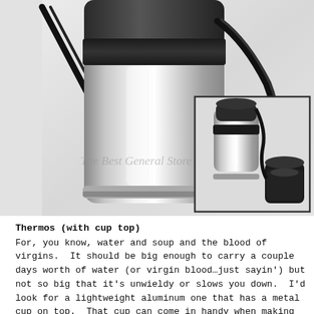[Figure (photo): Two product photos of a stainless steel thermos with cup top and shoulder strap. Main large photo shows close-up of the thermos body with black strap. Inset smaller photo shows the thermos with cap removed and cup alongside it. Watermark reads 'The Best General Store'.]
Thermos (with cup top)
For, you know, water and soup and the blood of virgins.  It should be big enough to carry a couple days worth of water (or virgin blood…just sayin') but not so big that it's unwieldy or slows you down.  I'd look for a lightweight aluminum one that has a metal cup on top.  That cup can come in handy when making the aforementioned solar water still.  Plus, if the cup has a ring on it for drinking, it totally looks